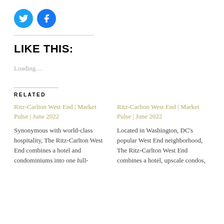[Figure (other): Two social media icon buttons: Twitter (blue bird icon) and Facebook (blue f icon), both circular]
LIKE THIS:
Loading…
RELATED
Ritz-Carlton West End | Market Pulse | June 2022
Synonymous with world-class hospitality, The Ritz-Carlton West End combines a hotel and condominiums into one full-
Ritz-Carlton West End | Market Pulse | June 2022
Located in Washington, DC's popular West End neighborhood, The Ritz-Carlton West End combines a hotel, upscale condos,